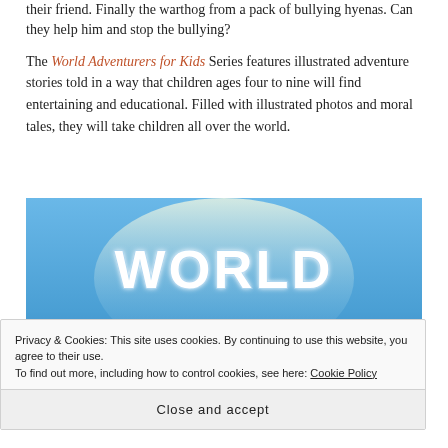their friend. Finally the warthog from a pack of bullying hyenas. Can they help him and stop the bullying?
The World Adventurers for Kids Series features illustrated adventure stories told in a way that children ages four to nine will find entertaining and educational. Filled with illustrated photos and moral tales, they will take children all over the world.
[Figure (illustration): Book series banner image with blue gradient background showing large white bold text reading 'WORLD ADVENTURERS' in a stylized font]
Privacy & Cookies: This site uses cookies. By continuing to use this website, you agree to their use.
To find out more, including how to control cookies, see here: Cookie Policy
Close and accept